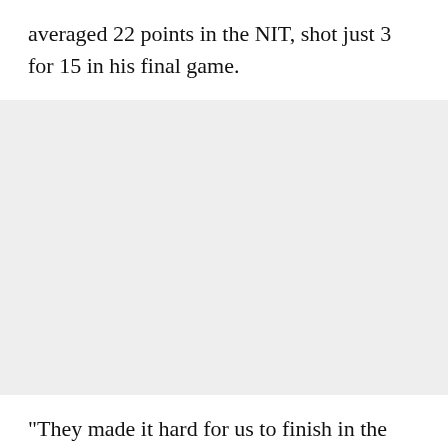averaged 22 points in the NIT, shot just 3 for 15 in his final game.
[Figure (photo): A light gray rectangular image placeholder area]
"They made it hard for us to finish in the lane sometimes and they are just very active," the senior